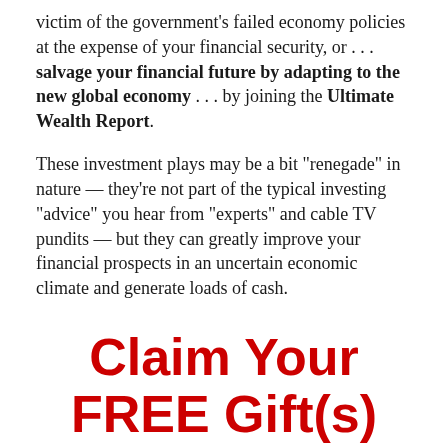victim of the government's failed economy policies at the expense of your financial security, or . . . salvage your financial future by adapting to the new global economy . . . by joining the Ultimate Wealth Report.
These investment plays may be a bit "renegade" in nature — they're not part of the typical investing "advice" you hear from "experts" and cable TV pundits — but they can greatly improve your financial prospects in an uncertain economic climate and generate loads of cash.
Claim Your FREE Gift(s) Today!